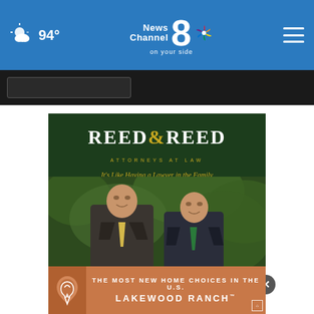News Channel 8 on your side — 94°
[Figure (screenshot): Reed & Reed Attorneys at Law advertisement — dark green background with white serif title 'REED & REED', gold ampersand, gold subtitle 'ATTORNEYS AT LAW', gold italic tagline 'It's Like Having a Lawyer in the Family', photo of two men in suits, gold bottom bar with text 'Click Here... We can help. Brandon, FL - 813-438-5960']
[Figure (advertisement): Lakewood Ranch advertisement — orange/terracotta background, logo on left, text 'THE MOST NEW HOME CHOICES IN THE U.S.' and 'LAKEWOOD RANCH']